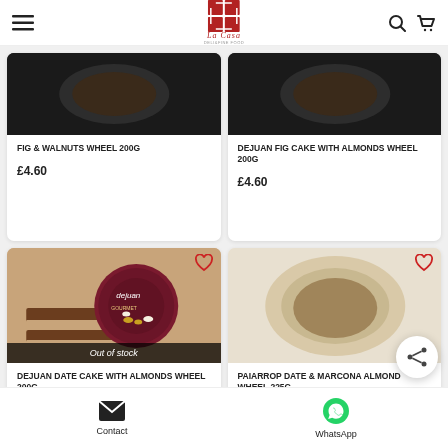La Casa — menu, search, cart icons
[Figure (photo): Product image top-left: FIG & WALNUTS WHEEL 200g — dark product image]
FIG & WALNUTS WHEEL 200g
£4.60
[Figure (photo): Product image top-right: DEJUAN FIG CAKE WITH ALMONDS WHEEL 200g — dark product image]
DEJUAN FIG CAKE WITH ALMONDS WHEEL 200g
£4.60
[Figure (photo): Product image bottom-left: DEJUAN DATE CAKE WITH ALMONDS WHEEL 200g — food photo with dejuan label, Out of stock overlay]
DEJUAN DATE CAKE WITH ALMONDS WHEEL 200g
£4.60
[Figure (photo): Product image bottom-right: PAIARROP DATE & MARCONA ALMOND WHEEL 225g]
PAIARROP DATE & MARCONA ALMOND WHEEL 225g
£5.90
Contact   WhatsApp